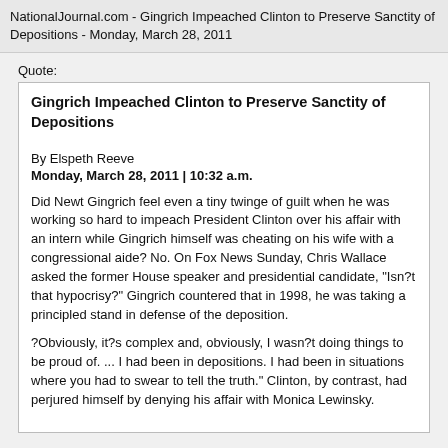NationalJournal.com - Gingrich Impeached Clinton to Preserve Sanctity of Depositions - Monday, March 28, 2011
Quote:
Gingrich Impeached Clinton to Preserve Sanctity of Depositions
By Elspeth Reeve
Monday, March 28, 2011 | 10:32 a.m.
Did Newt Gingrich feel even a tiny twinge of guilt when he was working so hard to impeach President Clinton over his affair with an intern while Gingrich himself was cheating on his wife with a congressional aide? No. On Fox News Sunday, Chris Wallace asked the former House speaker and presidential candidate, "Isn?t that hypocrisy?" Gingrich countered that in 1998, he was taking a principled stand in defense of the deposition.
?Obviously, it?s complex and, obviously, I wasn?t doing things to be proud of. ... I had been in depositions. I had been in situations where you had to swear to tell the truth." Clinton, by contrast, had perjured himself by denying his affair with Monica Lewinsky.